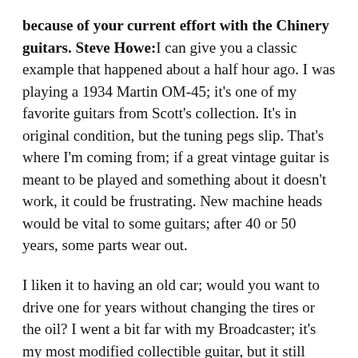because of your current effort with the Chinery guitars. Steve Howe: I can give you a classic example that happened about a half hour ago. I was playing a 1934 Martin OM-45; it's one of my favorite guitars from Scott's collection. It's in original condition, but the tuning pegs slip. That's where I'm coming from; if a great vintage guitar is meant to be played and something about it doesn't work, it could be frustrating. New machine heads would be vital to some guitars; after 40 or 50 years, some parts wear out.
I liken it to having an old car; would you want to drive one for years without changing the tires or the oil? I went a bit far with my Broadcaster; it's my most modified collectible guitar, but it still works for me. And I've learned things; I don't claim that everything I've done is right, and some guitars in my collection had already been modified when I got them. Practically all of the guitars in my collection